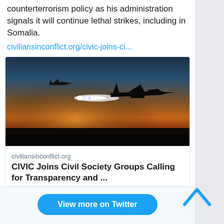counterterrorism policy as his administration signals it will continue lethal strikes, including in Somalia.
civiliansinconflict.org/civic-joins-ci...
[Figure (photo): Two military fighter jet silhouettes flying at sunset/dusk with afterburner glow visible, orange and dark sky background.]
civiliansinconflict.org
CIVIC Joins Civil Society Groups Calling for Transparency and ...
1  8
View more on Twitter